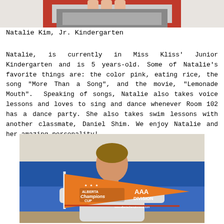[Figure (photo): Partial photo of a child at top of page, cropped showing hands near a red-framed Etch-a-Sketch or similar toy]
Natalie Kim, Jr. Kindergarten
Natalie, is currently in Miss Kliss' Junior Kindergarten and is 5 years-old. Some of Natalie's favorite things are: the color pink, eating rice, the song “More Than a Song”, and the movie, “Lemonade Mouth”.  Speaking of songs, Natalie also takes voice lessons and loves to sing and dance whenever Room 102 has a dance party. She also takes swim lessons with another classmate, Daniel Shim. We enjoy Natalie and her amazing personality!
[Figure (photo): A young boy in hockey gear holding an orange Alberta Champions Cup AAA Division pennant flag, sitting in front of a blue gymnasium wall]